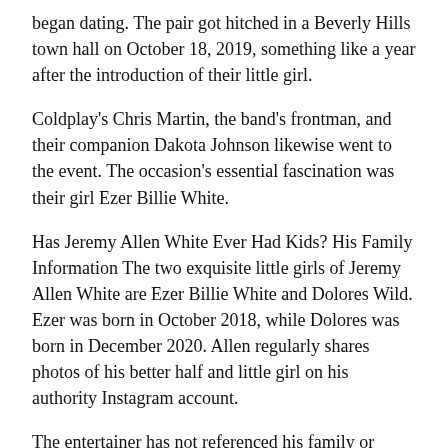began dating. The pair got hitched in a Beverly Hills town hall on October 18, 2019, something like a year after the introduction of their little girl.
Coldplay's Chris Martin, the band's frontman, and their companion Dakota Johnson likewise went to the event. The occasion's essential fascination was their girl Ezer Billie White.
Has Jeremy Allen White Ever Had Kids? His Family Information The two exquisite little girls of Jeremy Allen White are Ezer Billie White and Dolores Wild. Ezer was born in October 2018, while Dolores was born in December 2020. Allen regularly shares photos of his better half and little girl on his authority Instagram account.
The entertainer has not referenced his family or whether he has any, accordingly it is hard to decide whether he